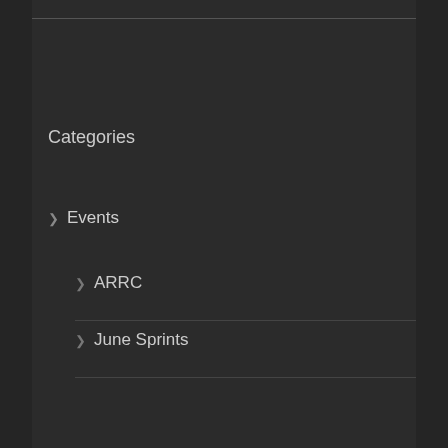Categories
Events
ARRC
June Sprints
NASA Champs
SCCA Runoffs
Tracks
Barber
Blackhawk Farms
Charlotte
CMR